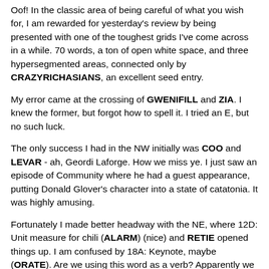Oof! In the classic area of being careful of what you wish for, I am rewarded for yesterday's review by being presented with one of the toughest grids I've come across in a while. 70 words, a ton of open white space, and three hypersegmented areas, connected only by CRAZYRICHASIANS, an excellent seed entry.
My error came at the crossing of GWENIFILL and ZIA. I knew the former, but forgot how to spell it. I tried an E, but no such luck.
The only success I had in the NW initially was COO and LEVAR - ah, Geordi Laforge. How we miss ye. I just saw an episode of Community where he had a guest appearance, putting Donald Glover's character into a state of catatonia. It was highly amusing.
Fortunately I made better headway with the NE, where 12D: Unit measure for chili (ALARM) (nice) and RETIE opened things up. I am confused by 18A: Keynote, maybe (ORATE). Are we using this word as a verb? Apparently we are.